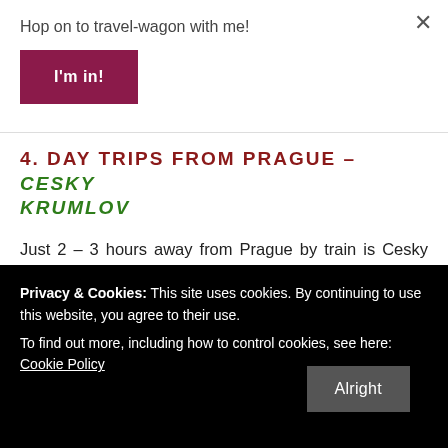Hop on to travel-wagon with me!
I'm in!
4. DAY TRIPS FROM PRAGUE – CESKY KRUMLOV
Just 2 – 3 hours away from Prague by train is Cesky Krumlov, making it perfect for a day-trip from Prague if you start early. It's a beautiful fairytale city and
Privacy & Cookies: This site uses cookies. By continuing to use this website, you agree to their use.
To find out more, including how to control cookies, see here: Cookie Policy
Alright